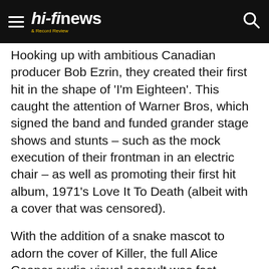hi-fi news & Record Review
Hooking up with ambitious Canadian producer Bob Ezrin, they created their first hit in the shape of 'I'm Eighteen'. This caught the attention of Warner Bros, which signed the band and funded grander stage shows and stunts – such as the mock execution of their frontman in an electric chair – as well as promoting their first hit album, 1971's Love It To Death (albeit with a cover that was censored).
With the addition of a snake mascot to adorn the cover of Killer, the full Alice Cooper audio-visual assault was fast building momentum. The stage was now set for Alice Cooper, the man, the band, the pantomime villain, to terrorise the pop charts.